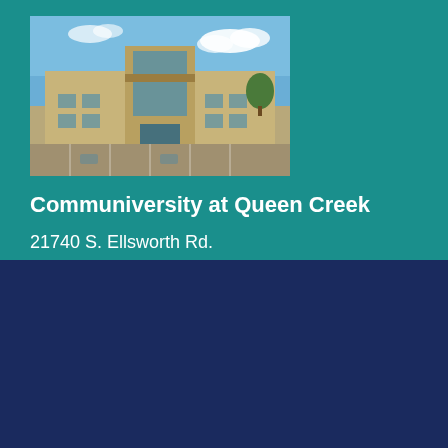[Figure (photo): Exterior photo of Communiversity at Queen Creek building, a modern tan/beige structure with large windows, blue sky background, parking lot in foreground]
Communiversity at Queen Creek
21740 S. Ellsworth Rd.
Queen Creek, AZ 85142
480-384-9333
We use cookies on this site to enhance your user experience. Please review our privacy policy for more information.
OK